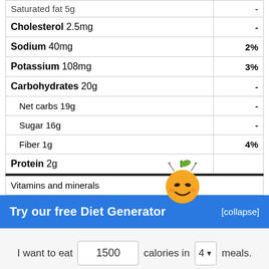| Nutrient | Daily Value |
| --- | --- |
| Saturated fat 5g | - |
| Cholesterol 2.5mg | - |
| Sodium 40mg | 2% |
| Potassium 108mg | 3% |
| Carbohydrates 20g | - |
| Net carbs 19g | - |
| Sugar 16g | - |
| Fiber 1g | 4% |
| Protein 2g |  |
| Vitamins and minerals |  |
Try our free Diet Generator
[collapse]
I want to eat 1500 calories in 4 meals.
Generate